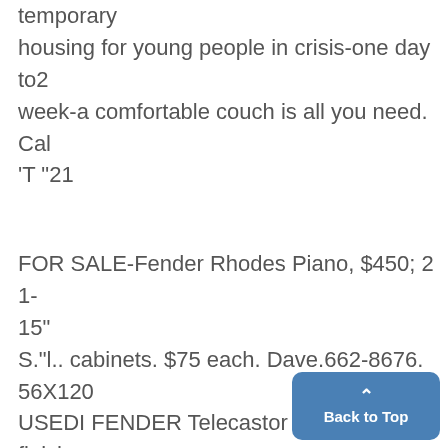temporary housing for young people in crisis-one day to2 week-a comfortable couch is all you need. Cal 'T "21
FOR SALE-Fender Rhodes Piano, $450; 2 1-15" S."l.. cabinets. $75 each. Dave.662-8676. 56X120 USEDI FENDER Telecastor Guitar. Natural finish with maple neck. Call Don.769-